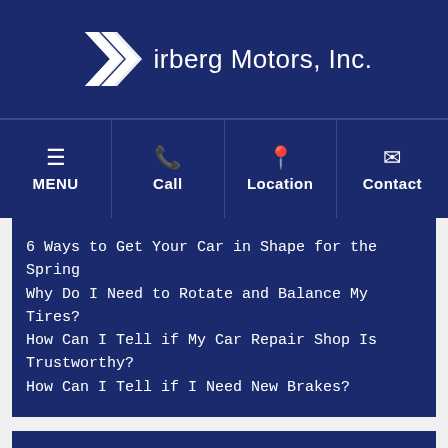[Figure (logo): Kirberg Motors, Inc. logo with double-K chevron icon in white on dark navy background]
MENU | Call | Location | Contact
6 Ways to Get Your Car in Shape for the Spring
Why Do I Need to Rotate and Balance My Tires?
How Can I Tell if My Car Repair Shop Is Trustworthy?
How Can I Tell if I Need New Brakes?
Categories
Automotive Technology
Luxury Vehicles